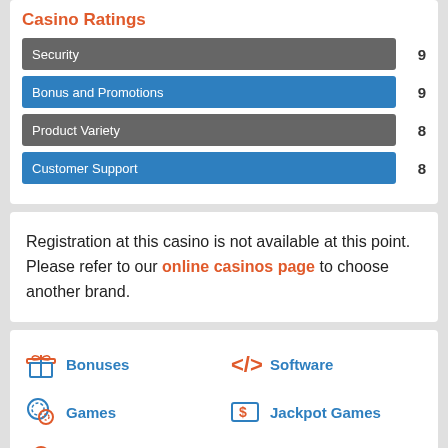Casino Ratings
[Figure (bar-chart): Casino Ratings]
Registration at this casino is not available at this point. Please refer to our online casinos page to choose another brand.
Bonuses
Software
Games
Jackpot Games
Licensing
Site Layout
Banking
Support
FAQ
Conclusion